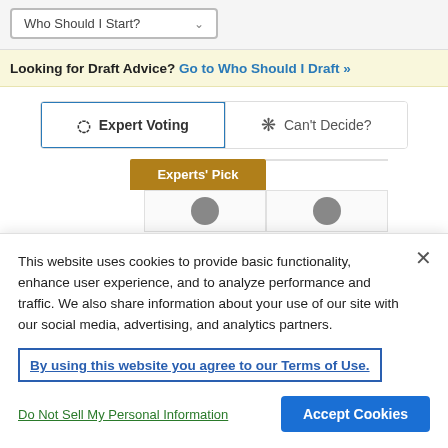Who Should I Start?
Looking for Draft Advice? Go to Who Should I Draft »
Expert Voting
Can't Decide?
Experts' Pick
This website uses cookies to provide basic functionality, enhance user experience, and to analyze performance and traffic. We also share information about your use of our site with our social media, advertising, and analytics partners.
By using this website you agree to our Terms of Use.
Do Not Sell My Personal Information
Accept Cookies